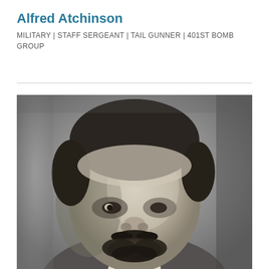Alfred Atchinson
MILITARY | STAFF SERGEANT | TAIL GUNNER | 401ST BOMB GROUP
[Figure (photo): Black and white close-up portrait photograph of Alfred Atchinson, a man with dark curly hair, a mustache, and a beard, wearing what appears to be a collared shirt or uniform.]